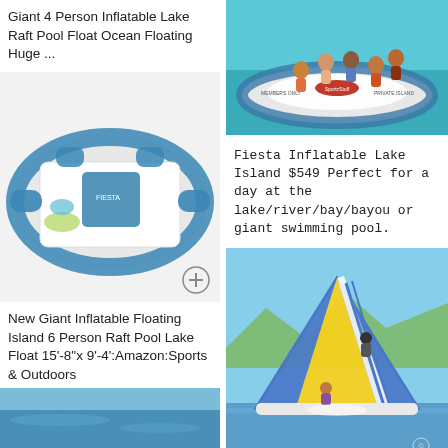Giant 4 Person Inflatable Lake Raft Pool Float Ocean Floating Huge …
[Figure (photo): Group of people sitting on a large inflatable island raft on water, branded 'Members Only Private Island']
[Figure (photo): Blue and white inflatable floating island with blue floral pattern, multiple seat areas and cooler section, shown on white background with a + icon]
Fiesta Inflatable Lake Island $549 Perfect for a day at the lake/river/bay/bayou or giant swimming pool.
New Giant Inflatable Floating Island 6 Person Raft Pool Lake Float 15'-8"x 9'-4':Amazon:Sports & Outdoors
[Figure (photo): Large inflatable water slide structure shaped like an A-frame tent in blue and yellow, on a lake with mountain background]
[Figure (photo): Partial view of blue water, bottom of page left column]
Aqua Slide …